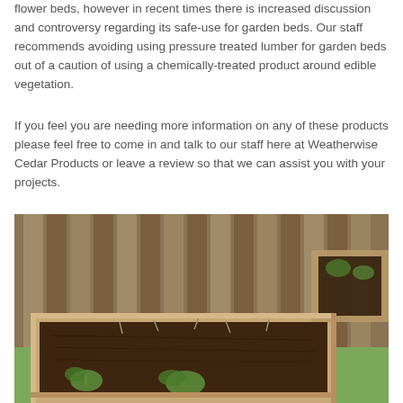flower beds, however in recent times there is increased discussion and controversy regarding its safe-use for garden beds. Our staff recommends avoiding using pressure treated lumber for garden beds out of a caution of using a chemically-treated product around edible vegetation.
If you feel you are needing more information on any of these products please feel free to come in and talk to our staff here at Weatherwise Cedar Products or leave a review so that we can assist you with your projects.
[Figure (photo): Photograph of a raised wooden garden bed with dark soil and small plants growing inside, set against a wooden fence in a backyard setting. Another smaller raised bed is visible in the upper right corner.]